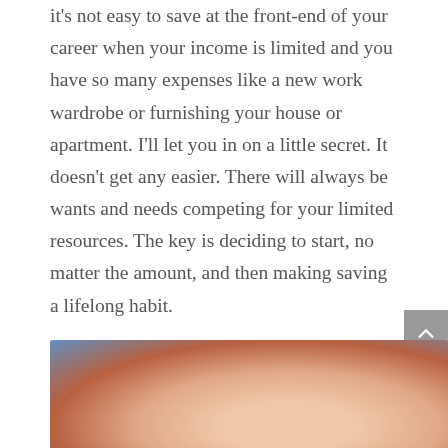it's not easy to save at the front-end of your career when your income is limited and you have so many expenses like a new work wardrobe or furnishing your house or apartment.  I'll let you in on a little secret.  It doesn't get any easier.  There will always be wants and needs competing for your limited resources.  The key is deciding to start, no matter the amount, and then making saving a lifelong habit.
[Figure (photo): Close-up photo of hands holding and fanning out paper currency/banknotes, with a blurred colorful background in pink and blue tones, person wearing a rust/orange colored sleeve.]